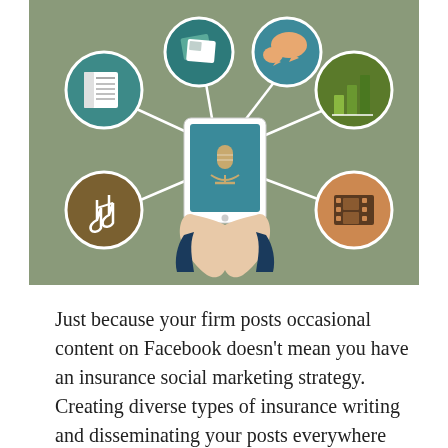[Figure (illustration): Infographic illustration on a sage green background showing a pair of hands holding a tablet with a microphone icon. Connected via lines to six circular icons: a newspaper (content), photo stack (images), speech bubble (social/chat), bar chart (analytics), music notes (audio/podcast), and film strip (video). Represents diverse content types for social media marketing.]
Just because your firm posts occasional content on Facebook doesn't mean you have an insurance social marketing strategy. Creating diverse types of insurance writing and disseminating your posts everywhere from LinkedIn to Google News and beyond will help